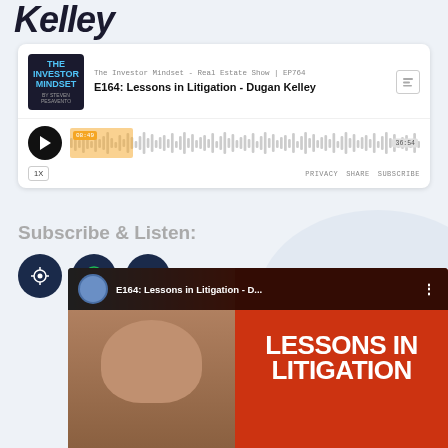Kelley
[Figure (screenshot): Buzzsprout podcast player embed showing 'E164: Lessons in Litigation - Dugan Kelley' episode from The Investor Mindset - Real Estate Show | EP764, with waveform audio player, play button, 1x speed badge, PRIVACY SHARE SUBSCRIBE links]
Subscribe & Listen:
[Figure (infographic): Three dark navy circular podcast app icons: Apple Podcasts, Spotify, and Google Podcasts]
[Figure (screenshot): YouTube video thumbnail showing 'E164: Lessons in Litigation - D...' with a man's face on the left and bold white text 'LESSONS IN LITIGATION' on an orange background]